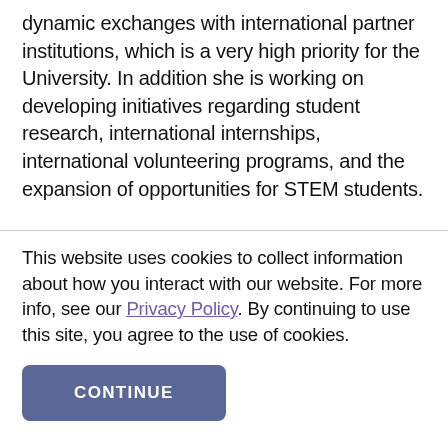dynamic exchanges with international partner institutions, which is a very high priority for the University. In addition she is working on developing initiatives regarding student research, international internships, international volunteering programs, and the expansion of opportunities for STEM students.
This website uses cookies to collect information about how you interact with our website. For more info, see our Privacy Policy. By continuing to use this site, you agree to the use of cookies.
CONTINUE